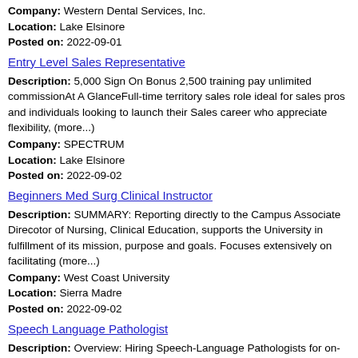Company: Western Dental Services, Inc.
Location: Lake Elsinore
Posted on: 2022-09-01
Entry Level Sales Representative
Description: 5,000 Sign On Bonus 2,500 training pay unlimited commissionAt A GlanceFull-time territory sales role ideal for sales pros and individuals looking to launch their Sales career who appreciate flexibility, (more...)
Company: SPECTRUM
Location: Lake Elsinore
Posted on: 2022-09-02
Beginners Med Surg Clinical Instructor
Description: SUMMARY: Reporting directly to the Campus Associate Direcotor of Nursing, Clinical Education, supports the University in fulfillment of its mission, purpose and goals. Focuses extensively on facilitating (more...)
Company: West Coast University
Location: Sierra Madre
Posted on: 2022-09-02
Speech Language Pathologist
Description: Overview: Hiring Speech-Language Pathologists for on-site in Los Angeles, California Full-time positions with benefits New Grad Mentorship with on the ground training br Local Clinical Manager support (more...)